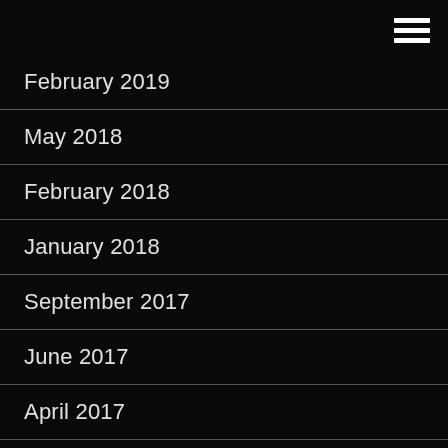February 2019
May 2018
February 2018
January 2018
September 2017
June 2017
April 2017
January 2017
December 2016
August 2016
July 2016
March 2016